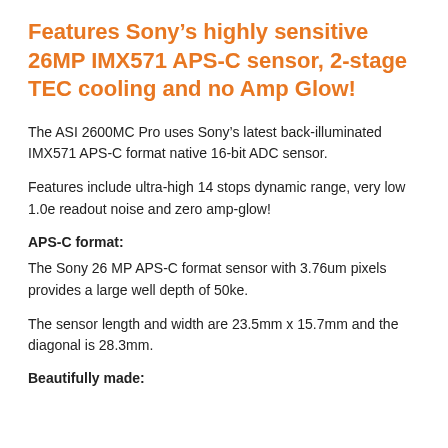Features Sony's highly sensitive 26MP IMX571 APS-C sensor, 2-stage TEC cooling and no Amp Glow!
The ASI 2600MC Pro uses Sony's latest back-illuminated IMX571 APS-C format native 16-bit ADC sensor.
Features include ultra-high 14 stops dynamic range, very low 1.0e readout noise and zero amp-glow!
APS-C format:
The Sony 26 MP APS-C format sensor with 3.76um pixels provides a large well depth of 50ke.
The sensor length and width are 23.5mm x 15.7mm and the diagonal is 28.3mm.
Beautifully made: